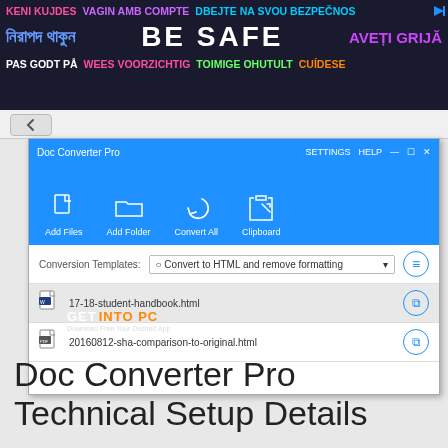[Figure (screenshot): Multilingual safety banner advertisement at top reading 'BE SAFE' in various languages including Bengali, Romanian, Czech, Norwegian, Dutch, Estonian, Spanish, and others in colorful text on dark background.]
[Figure (screenshot): Screenshot of Doc Converter Pro application window showing toolbar with Add Files, Add Folder, Convert All, Clipboard buttons. Conversion Templates dropdown shows 'Convert to HTML and remove formatting'. File list shows two files: 17-18-student-handbook.html and 20160812-sha-comparison-to-original.html. GET INTO PC watermark overlay visible.]
Doc Converter Pro Technical Setup Details